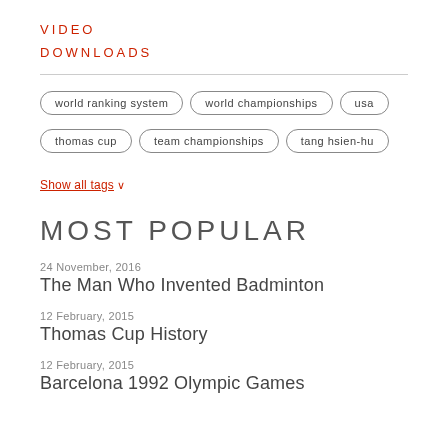VIDEO
DOWNLOADS
world ranking system
world championships
usa
thomas cup
team championships
tang hsien-hu
Show all tags ∨
MOST POPULAR
24 November, 2016
The Man Who Invented Badminton
12 February, 2015
Thomas Cup History
12 February, 2015
Barcelona 1992 Olympic Games